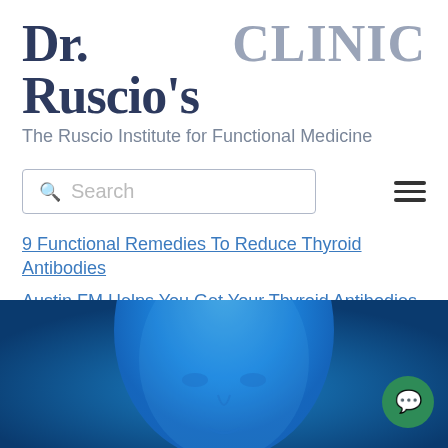Dr. Ruscio's CLINIC
The Ruscio Institute for Functional Medicine
Search
9 Functional Remedies To Reduce Thyroid Antibodies
Austin FM Helps You Get Your Thyroid Antibodies in Check
[Figure (photo): Blue-toned medical illustration of a human face from the chin up, shown against a blue background]